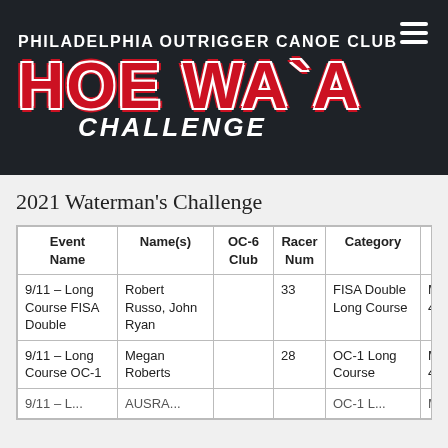PHILADELPHIA OUTRIGGER CANOE CLUB HOE WA`A CHALLENGE
2021 Waterman's Challenge
| Event Name | Name(s) | OC-6 Club | Racer Num | Category | Age Gro |
| --- | --- | --- | --- | --- | --- |
| 9/11 – Long Course FISA Double | Robert Russo, John Ryan |  | 33 | FISA Double Long Course | Mas 40+ |
| 9/11 – Long Course OC-1 | Megan Roberts |  | 28 | OC-1 Long Course | Mas 40+ |
| 9/11 – Long ... | AUSRA ... |  |  | OC-1 ... | Ma... |